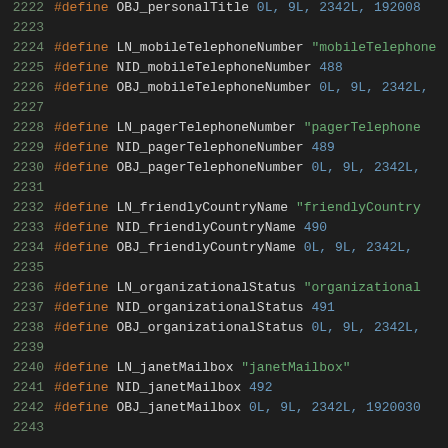2222  #define OBJ_personalTitle 0L, 9L, 2342L, 1920...
2223
2224  #define LN_mobileTelephoneNumber "mobileTelephoneNumber"
2225  #define NID_mobileTelephoneNumber 488
2226  #define OBJ_mobileTelephoneNumber 0L, 9L, 2342L,
2227
2228  #define LN_pagerTelephoneNumber "pagerTelephoneNumber"
2229  #define NID_pagerTelephoneNumber 489
2230  #define OBJ_pagerTelephoneNumber 0L, 9L, 2342L,
2231
2232  #define LN_friendlyCountryName "friendlyCountryName"
2233  #define NID_friendlyCountryName 490
2234  #define OBJ_friendlyCountryName 0L, 9L, 2342L,
2235
2236  #define LN_organizationalStatus "organizationalStatus"
2237  #define NID_organizationalStatus 491
2238  #define OBJ_organizationalStatus 0L, 9L, 2342L,
2239
2240  #define LN_janetMailbox "janetMailbox"
2241  #define NID_janetMailbox 492
2242  #define OBJ_janetMailbox 0L, 9L, 2342L, 1920030
2243